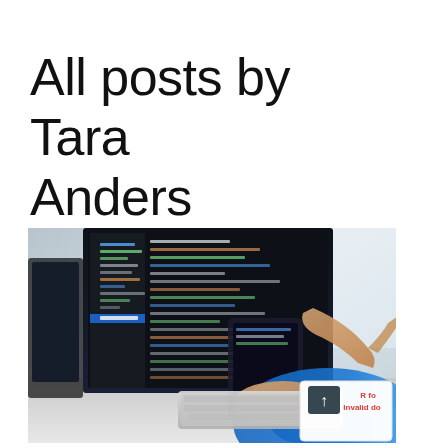All posts by Tara Anders
[Figure (photo): A person in a blue shirt typing on a keyboard and pointing at a large monitor displaying code/IDE, with a laptop and tablet also visible on the desk. In the bottom-right corner, a small tooltip or UI overlay shows a dark icon with an up-arrow and red text reading 'R fo Invalid do']